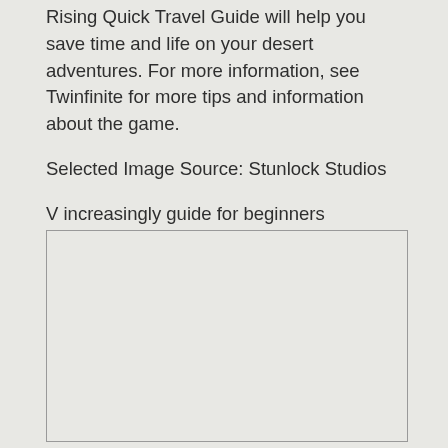Rising Quick Travel Guide will help you save time and life on your desert adventures. For more information, see Twinfinite for more tips and information about the game.
Selected Image Source: Stunlock Studios
V increasingly guide for beginners
[Figure (other): Empty bordered box placeholder for an image or embedded content]